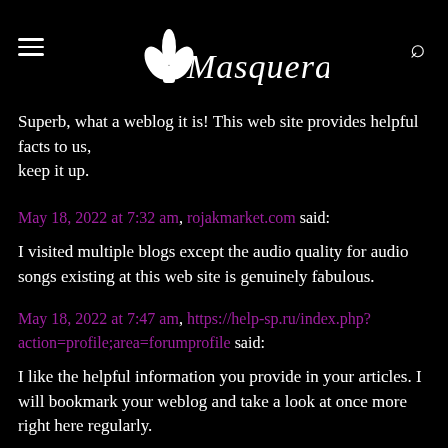Masquerade
Superb, what a weblog it is! This web site provides helpful facts to us,
keep it up.
May 18, 2022 at 7:32 am, rojakmarket.com said:
I visited multiple blogs except the audio quality for audio songs existing at this web site is genuinely fabulous.
May 18, 2022 at 7:47 am, https://help-sp.ru/index.php?action=profile;area=forumprofile said:
I like the helpful information you provide in your articles. I will bookmark your weblog and take a look at once more right here regularly.